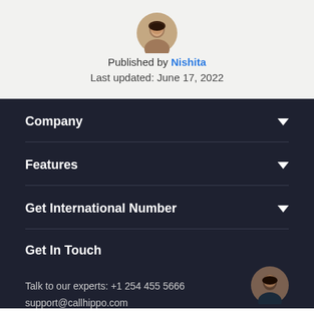[Figure (photo): Circular avatar photo of Nishita]
Published by Nishita
Last updated: June 17, 2022
Company
Features
Get International Number
Get In Touch
Talk to our experts: +1 254 455 5666
support@callhippo.com
[Figure (photo): Circular avatar photo of a support agent]